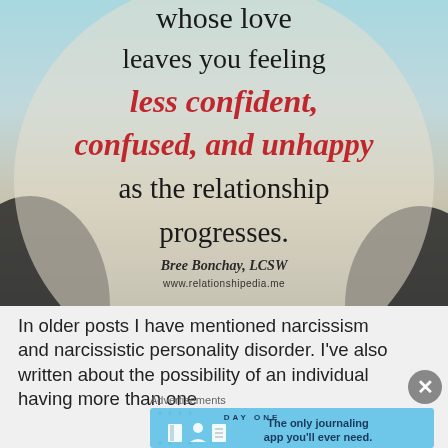[Figure (illustration): Motivational quote graphic with gradient teal/beige background and silhouette figures. Text reads: 'whose love leaves you feeling less confident, confused, and unhappy as the relationship progresses.' Attributed to Bree Bonchay, LCSW, www.relationshipedia.me]
In older posts I have mentioned narcissism and narcissistic personality disorder. I've also written about the possibility of an individual having more than one
Advertisements
[Figure (screenshot): DAY ONE app advertisement banner. Light blue background with icons and text: 'The only journaling app you'll ever need.']